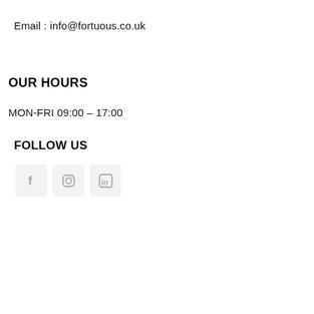Email : info@fortuous.co.uk
OUR HOURS
MON-FRI 09:00 – 17:00
FOLLOW US
[Figure (illustration): Three social media icon boxes: Facebook (f), Instagram (circle with square), LinkedIn (in)]